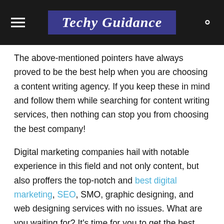Techy Guidance
The above-mentioned pointers have always proved to be the best help when you are choosing a content writing agency. If you keep these in mind and follow them while searching for content writing services, then nothing can stop you from choosing the best company!
Digital marketing companies hail with notable experience in this field and not only content, but also proffers the top-notch and best digital marketing, SEO, SMO, graphic designing, and web designing services with no issues. What are you waiting for? It's time for you to get the best content writing services in no time.
Read Also: